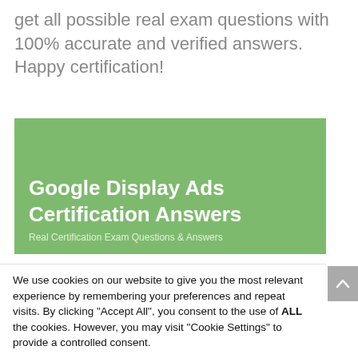get all possible real exam questions with 100% accurate and verified answers. Happy certification!
[Figure (illustration): Green banner with text 'Google Display Ads Certification Answers' and subtitle 'Real Certification Exam Questions & Answers']
We use cookies on our website to give you the most relevant experience by remembering your preferences and repeat visits. By clicking "Accept All", you consent to the use of ALL the cookies. However, you may visit "Cookie Settings" to provide a controlled consent.